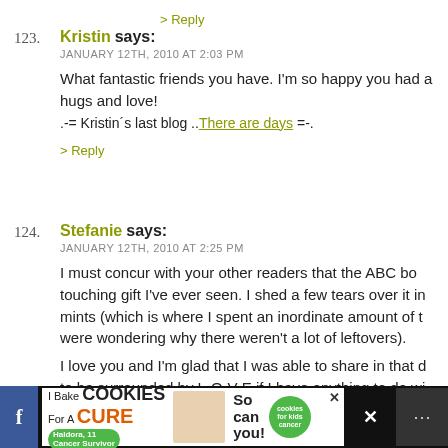> Reply
123. Kristin says:
JANUARY 12TH, 2010 AT 2:03 PM
What fantastic friends you have. I'm so happy you had a hugs and love!
.-= Kristin's last blog ..There are days =-.
> Reply
124. Stefanie says:
JANUARY 12TH, 2010 AT 2:25 PM
I must concur with your other readers that the ABC bo touching gift I've ever seen. I shed a few tears over it in mints (which is where I spent an inordinate amount of t were wondering why there weren't a lot of leftovers).
I love you and I'm glad that I was able to share in that d to be surrounded by L-O-V-E if I have anything to do wi
> Reply
[Figure (photo): Advertisement banner: I Bake COOKIES For A CURE - So can you! with cookies for kids cancer logo]